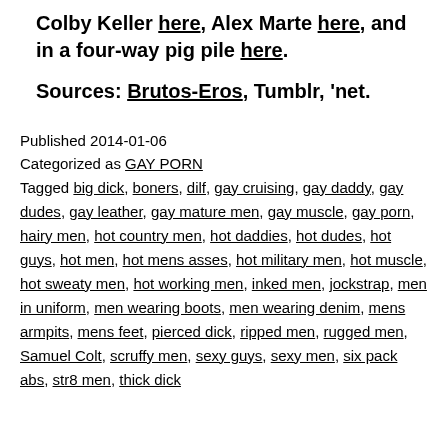Colby Keller here, Alex Marte here, and in a four-way pig pile here.
Sources: Brutos-Eros, Tumblr, 'net.
Published 2014-01-06
Categorized as GAY PORN
Tagged big dick, boners, dilf, gay cruising, gay daddy, gay dudes, gay leather, gay mature men, gay muscle, gay porn, hairy men, hot country men, hot daddies, hot dudes, hot guys, hot men, hot mens asses, hot military men, hot muscle, hot sweaty men, hot working men, inked men, jockstrap, men in uniform, men wearing boots, men wearing denim, mens armpits, mens feet, pierced dick, ripped men, rugged men, Samuel Colt, scruffy men, sexy guys, sexy men, six pack abs, str8 men, thick dick